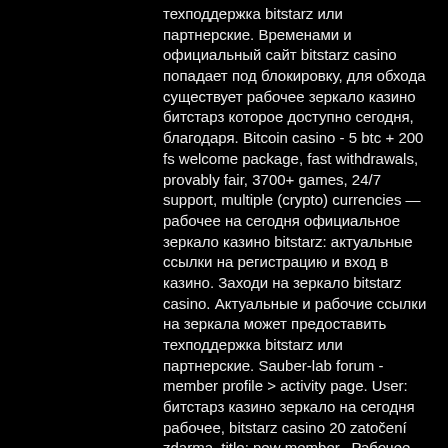техподдержка bitstarz или партнерские. Временами и официальный сайт bitstarz casino попадает под блокировку, для обхода существует рабочее зеркало казино битстарз которое доступно сегодня, благодаря. Bitcoin casino - 5 btc + 200 fs welcome package, fast withdrawals, provably fair, 3700+ games, 24/7 support, multiple (crypto) currencies — рабочее на сегодня официальное зеркало казино bitstarz: актуальные ссылки на регистрацию и вход в казино. Заходи на зеркало bitstarz casino. Актуальные и рабочие ссылки на зеркала может предоставить техподдержка bitstarz или партнерские. Sauber-lab forum - member profile &gt; activity page. User: битстарз казино зеркало на сегодня рабочее, bitstarz casino 20 zatočení zdarma, title: new member,. Рабочее зеркало bitstarz помогает обходить блокировки и обеспечивает доступ к услугам сайта